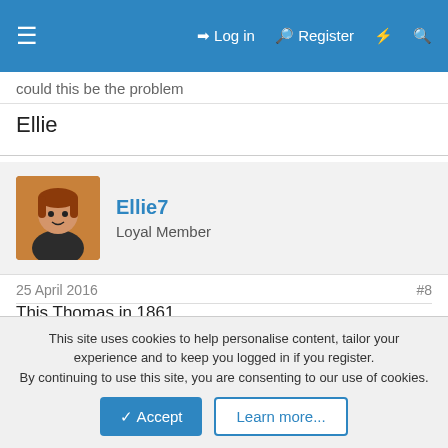Log in  Register
could this be the problem
Ellie
Ellie7
Loyal Member
25 April 2016   #8
This Thomas in 1861
Father Thomas c1806 Ilkley, Yorkshire, England-Joiner
Mother Ann 1808 Keswick, Cumberland, England
Son Thomas c1841 Leeds -Mechanic Fitter
This site uses cookies to help personalise content, tailor your experience and to keep you logged in if you register.
By continuing to use this site, you are consenting to our use of cookies.